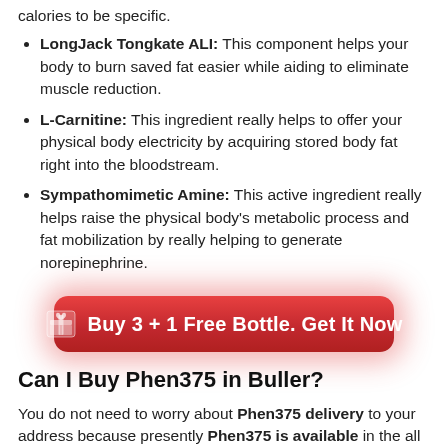calories to be specific.
LongJack Tongkate ALI: This component helps your body to burn saved fat easier while aiding to eliminate muscle reduction.
L-Carnitine: This ingredient really helps to offer your physical body electricity by acquiring stored body fat right into the bloodstream.
Sympathomimetic Amine: This active ingredient really helps raise the physical body's metabolic process and fat mobilization by really helping to generate norepinephrine.
[Figure (other): Red rounded button with gift icon: 'Buy 3 + 1 Free Bottle. Get It Now']
Can I Buy Phen375 in Buller?
You do not need to worry about Phen375 delivery to your address because presently Phen375 is available in the all Area or City in Buller.